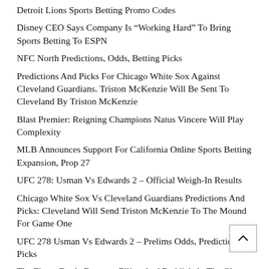Detroit Lions Sports Betting Promo Codes
Disney CEO Says Company Is “Working Hard” To Bring Sports Betting To ESPN
NFC North Predictions, Odds, Betting Picks
Predictions And Picks For Chicago White Sox Against Cleveland Guardians. Triston McKenzie Will Be Sent To Cleveland By Triston McKenzie
Blast Premier: Reigning Champions Natus Vincere Will Play Complexity
MLB Announces Support For California Online Sports Betting Expansion, Prop 27
UFC 278: Usman Vs Edwards 2 – Official Weigh-In Results
Chicago White Sox Vs Cleveland Guardians Predictions And Picks: Cleveland Will Send Triston McKenzie To The Mound For Game One
UFC 278 Usman Vs Edwards 2 – Prelims Odds, Predictions Picks
The Fierce Battle Between Elliott And Reddick At The Glen